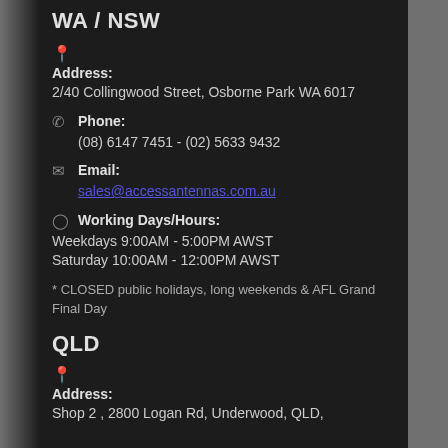WA / NSW
Address:
2/40 Collingwood Street, Osborne Park WA 6017
Phone:
(08) 6147 7451 - (02) 5633 9432
Email:
sales@accessantennas.com.au
Working Days/Hours:
Weekdays 9:00AM - 5:00PM AWST
Saturday 10:00AM - 12:00PM AWST
* CLOSED public holidays, long weekends & AFL Grand Final Day
QLD
Address:
Shop 2 , 2800 Logan Rd, Underwood, QLD,